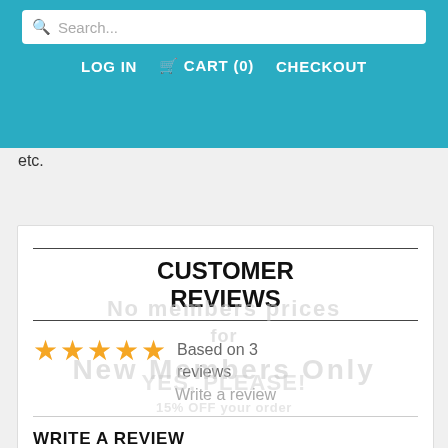LOG IN   CART (0)   CHECKOUT
etc.
CUSTOMER REVIEWS
★★★★★ Based on 3 reviews
Write a review
WRITE A REVIEW